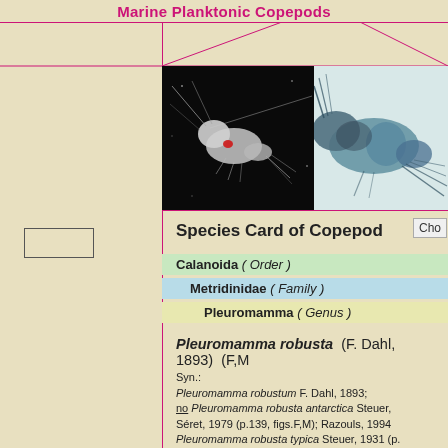Marine Planktonic Copepods
[Figure (photo): Two microscope/macro photographs of copepods side by side: left image shows a copepod on black background with visible red organ; right image shows a larger copepod specimen on white background]
Species Card of Copepod
Cho
Calanoida ( Order )
Metridinidae ( Family )
Pleuromamma ( Genus )
Pleuromamma robusta (F. Dahl, 1893) (F,M
Syn.: Pleuromamma robustum F. Dahl, 1893; no Pleuromamma robusta antarctica Steuer, Séret, 1979 (p.139, figs.F,M); Razouls, 1994 Pleuromamma robusta typica Steuer, 1931 (p. Pleuromamma robusta robusta : Bainbridge, ? Pleuromamma robusta : Mazzocchi & al. 19 (p.146, fig.F,Rem.).